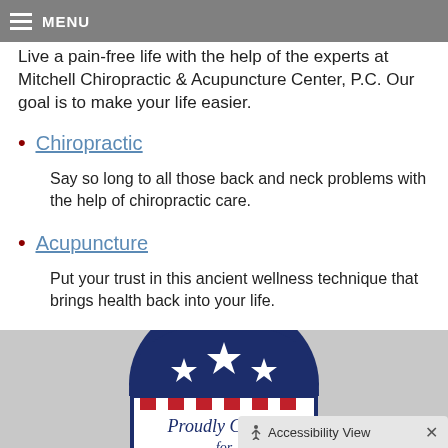MENU
Live a pain-free life with the help of the experts at Mitchell Chiropractic & Acupuncture Center, P.C. Our goal is to make your life easier.
Chiropractic
Say so long to all those back and neck problems with the help of chiropractic care.
Acupuncture
Put your trust in this ancient wellness technique that brings health back into your life.
[Figure (logo): Patriotic 'Proudly Caring for' logo with navy dome and stars, red and white striped border]
Accessibility View  X